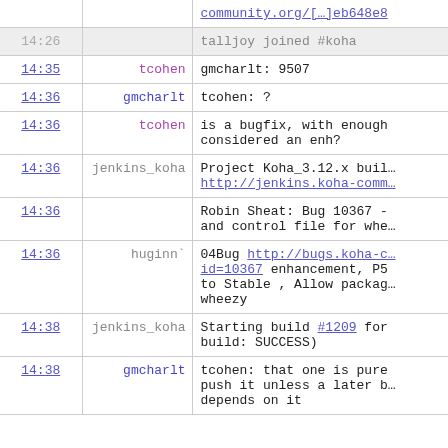| time | user | message |
| --- | --- | --- |
|  |  | community.org/[…]eb648e8 |
| 14:26 |  | talljoy joined #koha |
| 14:35 | tcohen | gmcharlt: 9507 |
| 14:36 | gmcharlt | tcohen: ? |
| 14:36 | tcohen | is a bugfix, with enough considered an enh? |
| 14:36 | jenkins_koha | Project Koha_3.12.x buil… http://jenkins.koha-comm… |
| 14:36 |  | Robin Sheat: Bug 10367 - and control file for whe… |
| 14:36 | huginn` | 04Bug http://bugs.koha-c… id=10367 enhancement, P5 to Stable , Allow packag… wheezy |
| 14:38 | jenkins_koha | Starting build #1209 for build: SUCCESS) |
| 14:38 | gmcharlt | tcohen: that one is pure push it unless a later b… depends on it |